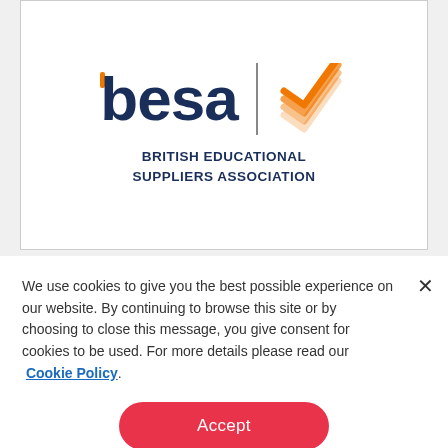[Figure (logo): BESA – British Educational Suppliers Association logo with orange dot above 'b', text 'besa' in dark navy, a vertical grey divider line, and an orange checkmark/tick icon to the right. Below: 'BRITISH EDUCATIONAL SUPPLIERS ASSOCIATION' in bold navy uppercase.]
We use cookies to give you the best possible experience on our website. By continuing to browse this site or by choosing to close this message, you give consent for cookies to be used. For more details please read our  Cookie Policy.
Accept